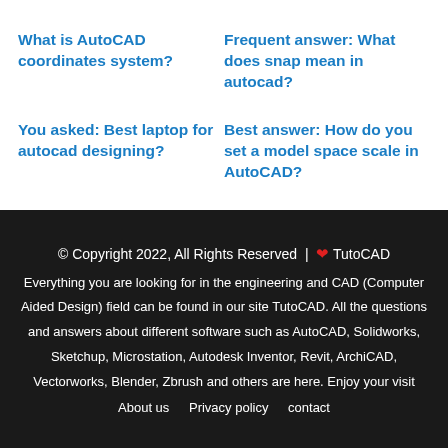What is AutoCAD coordinates system?
Frequent answer: What does snap mean in autocad?
You asked: Best laptop for autocad designing?
Best answer: How do you set a model space scale in AutoCAD?
© Copyright 2022, All Rights Reserved | ❤ TutoCAD
Everything you are looking for in the engineering and CAD (Computer Aided Design) field can be found in our site TutoCAD. All the questions and answers about different software such as AutoCAD, Solidworks, Sketchup, Microstation, Autodesk Inventor, Revit, ArchiCAD, Vectorworks, Blender, Zbrush and others are here. Enjoy your visit
About us  Privacy policy  contact